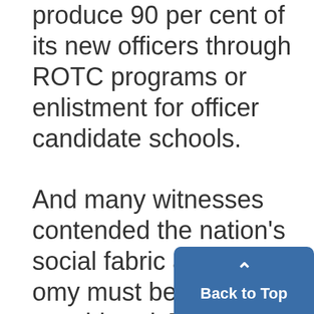produce 90 per cent of its new officers through ROTC programs or enlistment for officer candidate schools. And many witnesses contended the nation's social fabric and economy must be considered. They point to the need for scientists, teachers, doctors. While few people on Capital Hill look for drastic changes in the draft law, there is an apparent belief some administrative overhaul is needed.